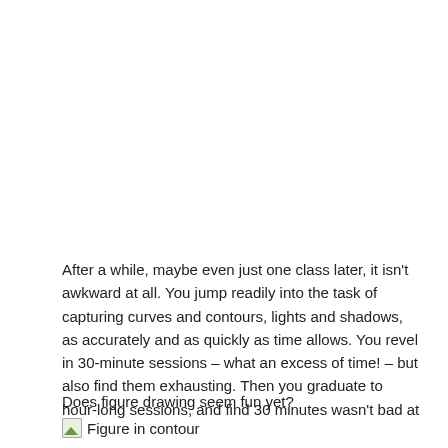After a while, maybe even just one class later, it isn't awkward at all. You jump readily into the task of capturing curves and contours, lights and shadows, as accurately and as quickly as time allows. You revel in 30-minute sessions – what an excess of time! – but also find them exhausting. Then you graduate to hour-long sessions, and find 30 minutes wasn't bad at all.
Does figure drawing seem fun yet?
[Figure (illustration): Small broken image icon placeholder with text 'Figure in contour']